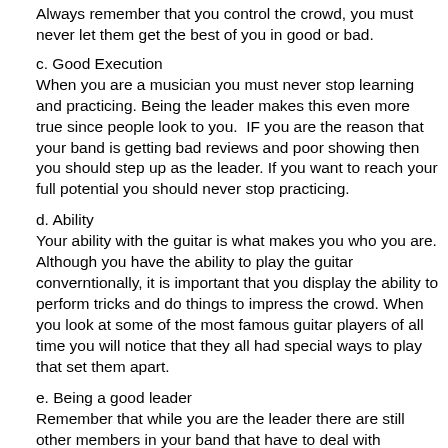Always remember that you control the crowd, you must never let them get the best of you in good or bad.
c. Good Execution
When you are a musician you must never stop learning and practicing. Being the leader makes this even more true since people look to you.  IF you are the reason that your band is getting bad reviews and poor showing then you should step up as the leader. If you want to reach your full potential you should never stop practicing.
d. Ability
Your ability with the guitar is what makes you who you are. Although you have the ability to play the guitar conventionally, it is important that you display the ability to perform tricks and do things to impress the crowd. When you look at some of the most famous guitar players of all time you will notice that they all had special ways to play that set them apart.
e. Being a good leader
Remember that while you are the leader there are still other members in your band that have to deal with pressure and stress too. You must be disciplined to maintain good relationships within the band and let it thrive. Remember that these important things will help you be a great leader.